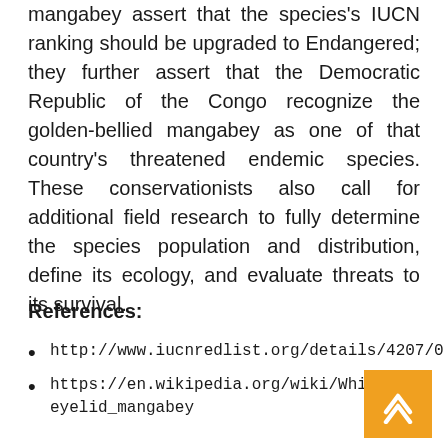mangabey assert that the species's IUCN ranking should be upgraded to Endangered; they further assert that the Democratic Republic of the Congo recognize the golden-bellied mangabey as one of that country's threatened endemic species. These conservationists also call for additional field research to fully determine the species population and distribution, define its ecology, and evaluate threats to its survival.
References:
http://www.iucnredlist.org/details/4207/0
https://en.wikipedia.org/wiki/White-eyelid_mangabey